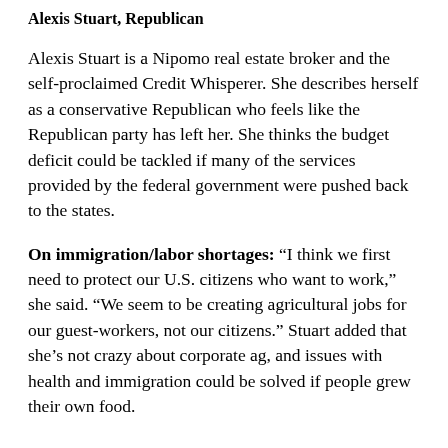Alexis Stuart, Republican
Alexis Stuart is a Nipomo real estate broker and the self-proclaimed Credit Whisperer. She describes herself as a conservative Republican who feels like the Republican party has left her. She thinks the budget deficit could be tackled if many of the services provided by the federal government were pushed back to the states.
On immigration/labor shortages: “I think we first need to protect our U.S. citizens who want to work,” she said. “We seem to be creating agricultural jobs for our guest-workers, not our citizens.” Stuart added that she’s not crazy about corporate ag, and issues with health and immigration could be solved if people grew their own food.